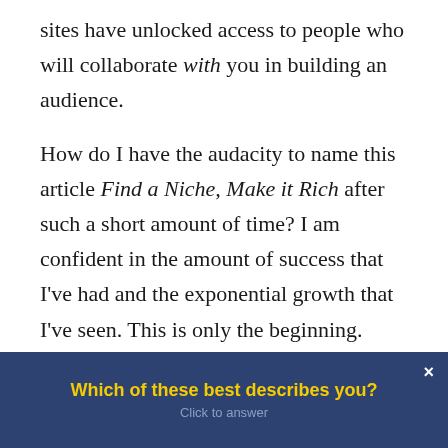sites have unlocked access to people who will collaborate with you in building an audience.
How do I have the audacity to name this article Find a Niche, Make it Rich after such a short amount of time? I am confident in the amount of success that I've had and the exponential growth that I've seen. This is only the beginning. And, the only regret I'll have is that I should have started sooner.
Ryan Michler founded Wealth Anatomy with the goal of giving healthcare professionals access to
Which of these best describes you?
Click to answer